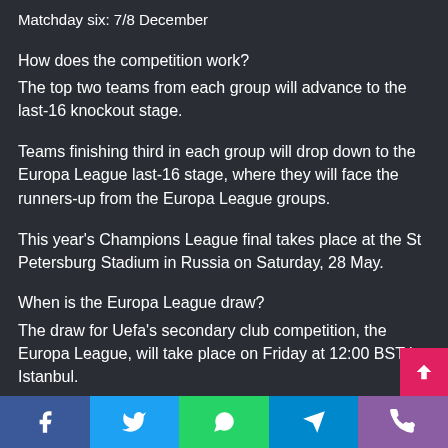Matchday six: 7/8 December
How does the competition work?
The top two teams from each group will advance to the last-16 knockout stage.
Teams finishing third in each group will drop down to the Europa League last-16 stage, where they will face the runners-up from the Europa League groups.
This year's Champions League final takes place at the St Petersburg Stadium in Russia on Saturday, 28 May.
When is the Europa League draw?
The draw for Uefa's secondary club competition, the Europa League, will take place on Friday at 12:00 BST in Istanbul.
Facebook | Twitter | WhatsApp | Telegram | Phone